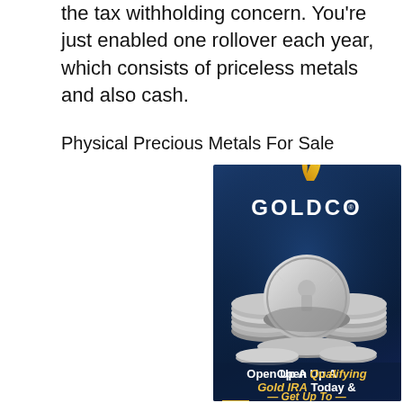the tax withholding concern. You're just enabled one rollover each year, which consists of priceless metals and also cash.
Physical Precious Metals For Sale
[Figure (illustration): Goldco advertisement showing silver coins (American Eagle style) stacked in a pile against a dark blue background. The Goldco logo with a golden flame appears at the top. Bottom text reads: 'Open Up A Qualifying Gold IRA Today & Get Up To —']